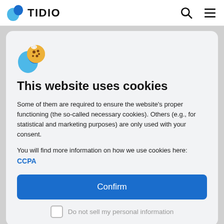TIDIO
[Figure (illustration): Cookie emoji with Tidio blue logo leaf shape overlay]
This website uses cookies
Some of them are required to ensure the website's proper functioning (the so-called necessary cookies). Others (e.g., for statistical and marketing purposes) are only used with your consent.
You will find more information on how we use cookies here: CCPA
Confirm
Do not sell my personal information